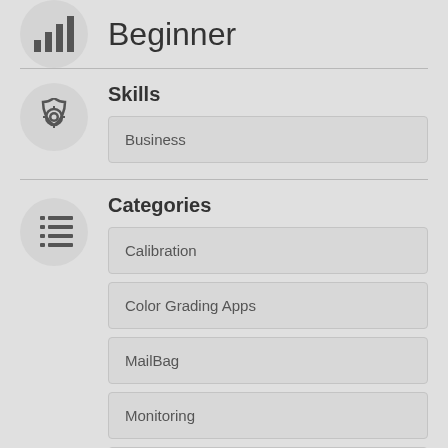Beginner
Skills
Business
Categories
Calibration
Color Grading Apps
MailBag
Monitoring
Theory